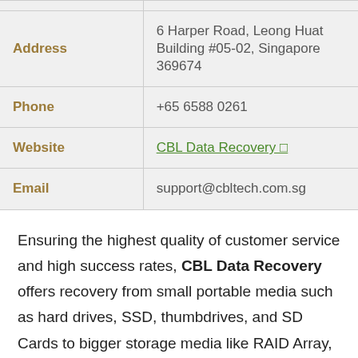| Address | 6 Harper Road, Leong Huat Building #05-02, Singapore 369674 |
| Phone | +65 6588 0261 |
| Website | CBL Data Recovery ↗ |
| Email | support@cbltech.com.sg |
Ensuring the highest quality of customer service and high success rates, CBL Data Recovery offers recovery from small portable media such as hard drives, SSD, thumbdrives, and SD Cards to bigger storage media like RAID Array, NAS and Servers. They also recover from